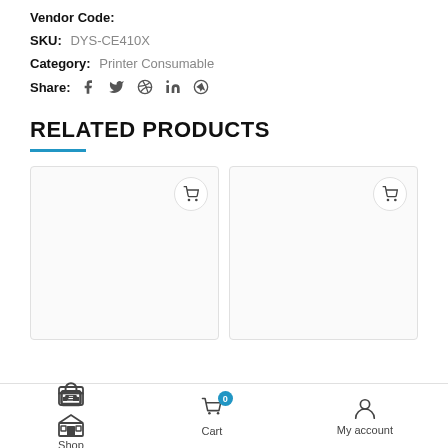Vendor Code:
SKU: DYS-CE410X
Category: Printer Consumable
Share: [social icons: facebook, twitter, pinterest, linkedin, telegram]
RELATED PRODUCTS
[Figure (screenshot): Two product card placeholders with shopping cart icons]
Shop  Cart (0)  My account